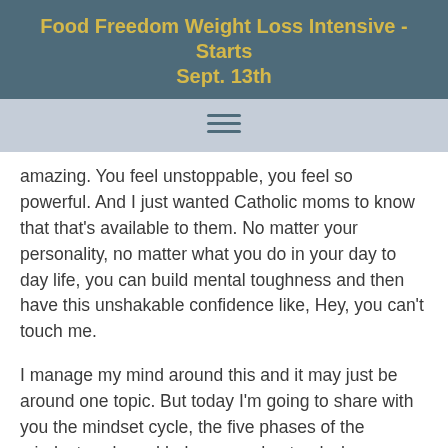Food Freedom Weight Loss Intensive - Starts Sept. 13th
amazing. You feel unstoppable, you feel so powerful. And I just wanted Catholic moms to know that that's available to them. No matter your personality, no matter what you do in your day to day life, you can build mental toughness and then have this unshakable confidence like, Hey, you can't touch me.
I manage my mind around this and it may just be around one topic. But today I'm going to share with you the mindset cycle, the five phases of the mindset cycle and help you understand where you're at in those phases, which phase you're in. And then I'm going to tell you about the new challenge that we are running called 60 days strong. And the 60 days strong challenge is designed to teach you how to build mental